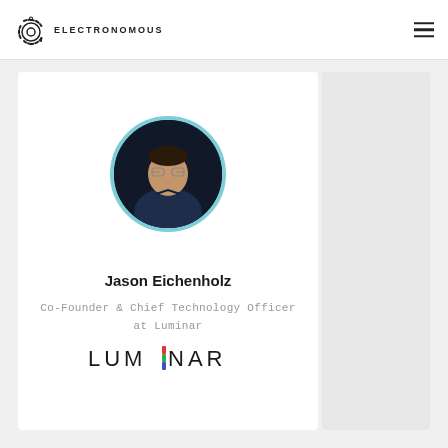ELECTRONOMOUS
[Figure (photo): Circular profile photo of Jason Eichenholz with light blue border, man in dark shirt on dark background]
Jason Eichenholz
Co-Founder & Chief Technology Officer at Luminar
[Figure (logo): Luminar logo in black text with a colored vertical bar replacing the letter I (red, green, blue segments)]